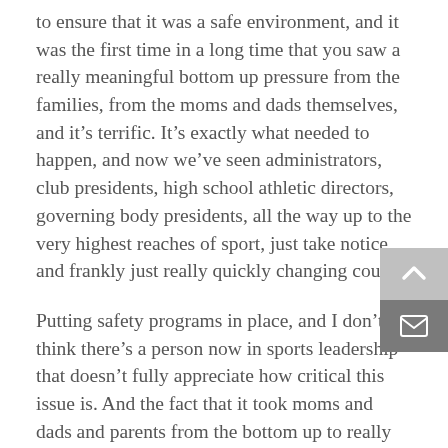to ensure that it was a safe environment, and it was the first time in a long time that you saw a really meaningful bottom up pressure from the families, from the moms and dads themselves, and it's terrific. It's exactly what needed to happen, and now we've seen administrators, club presidents, high school athletic directors, governing body presidents, all the way up to the very highest reaches of sport, just take notice and frankly just really quickly changing course.
Putting safety programs in place, and I don't think there's a person now in sports leadership that doesn't fully appreciate how critical this issue is. And the fact that it took moms and dads and parents from the bottom up to really raise that flag and apply pressure and push for change, it's been a meaningful change these last, you know, 5 to 10 years, but it's resulting in